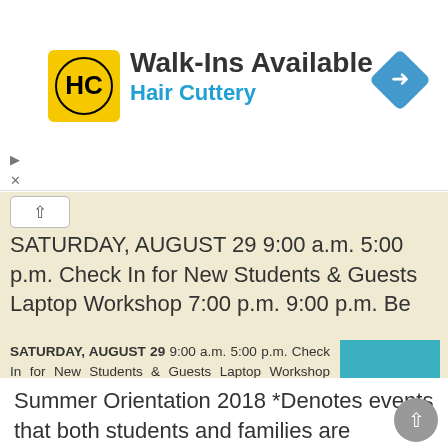[Figure (logo): Hair Cuttery advertisement banner with HC logo, Walk-Ins Available text, and navigation diamond icon]
SATURDAY, AUGUST 29 9:00 a.m. 5:00 p.m. Check In for New Students & Guests Laptop Workshop 7:00 p.m. 9:00 p.m. Be
SATURDAY, AUGUST 29 9:00 a.m. 5:00 p.m. Check In for New Students & Guests Laptop Workshop Sharp Building 37 S. Wabash Ave. All new students, parents, and guests will receive personalized materials for
More information →
Summer Orientation 2018 *Denotes events that both students and families are invited to attend…